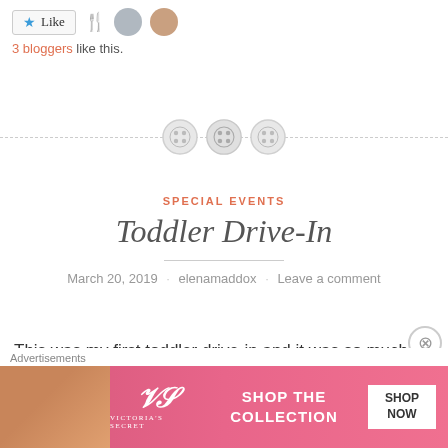[Figure (other): Like button with star icon, fork icon, and two avatar photos]
3 bloggers like this.
[Figure (other): Decorative divider with three button/sewing button icons on a dashed horizontal line]
SPECIAL EVENTS
Toddler Drive-In
March 20, 2019 · elenamaddox · Leave a comment
This was my first toddler drive-in and it was so much fun. And really, a super easy and cheap program! I created a slide in Canva so caregivers would know the supplies
[Figure (other): Victoria's Secret advertisement banner: Shop The Collection - Shop Now]